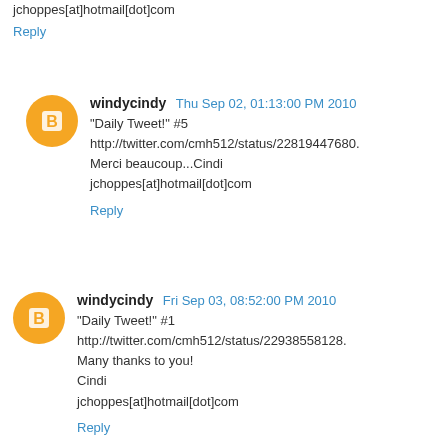jchoppes[at]hotmail[dot]com
Reply
windycindy  Thu Sep 02, 01:13:00 PM 2010
"Daily Tweet!" #5
http://twitter.com/cmh512/status/22819447680.
Merci beaucoup...Cindi
jchoppes[at]hotmail[dot]com
Reply
windycindy  Fri Sep 03, 08:52:00 PM 2010
"Daily Tweet!" #1
http://twitter.com/cmh512/status/22938558128.
Many thanks to you!
Cindi
jchoppes[at]hotmail[dot]com
Reply